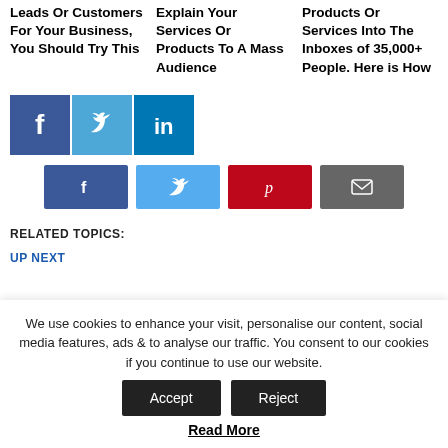Leads Or Customers For Your Business, You Should Try This
Explain Your Services Or Products To A Mass Audience
Products Or Services Into The Inboxes of 35,000+ People. Here is How
[Figure (infographic): Row of three social media icon buttons: Facebook (dark blue), Twitter (light blue), LinkedIn (teal/dark blue)]
[Figure (infographic): Row of four share buttons: Facebook (dark blue, f icon), Twitter (light blue, bird icon), Pinterest (red, P icon), Email (grey, envelope icon)]
RELATED TOPICS:
UP NEXT
We use cookies to enhance your visit, personalise our content, social media features, ads & to analyse our traffic. You consent to our cookies if you continue to use our website.
Accept
Reject
Read More